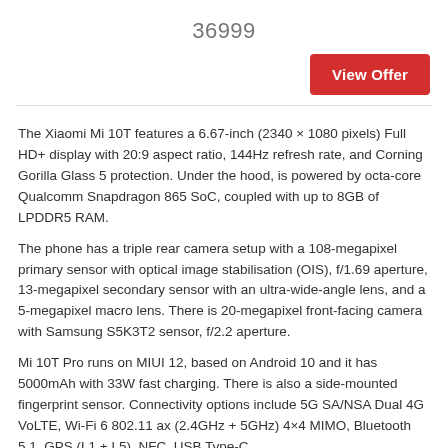36999
[Figure (other): Red 'View Offer' button]
The Xiaomi Mi 10T features a 6.67-inch (2340 × 1080 pixels) Full HD+ display with 20:9 aspect ratio, 144Hz refresh rate, and Corning Gorilla Glass 5 protection. Under the hood, is powered by octa-core Qualcomm Snapdragon 865 SoC, coupled with up to 8GB of LPDDR5 RAM.
The phone has a triple rear camera setup with a 108-megapixel primary sensor with optical image stabilisation (OIS), f/1.69 aperture, 13-megapixel secondary sensor with an ultra-wide-angle lens, and a 5-megapixel macro lens. There is 20-megapixel front-facing camera with Samsung S5K3T2 sensor, f/2.2 aperture.
Mi 10T Pro runs on MIUI 12, based on Android 10 and it has 5000mAh with 33W fast charging. There is also a side-mounted fingerprint sensor. Connectivity options include 5G SA/NSA Dual 4G VoLTE, Wi-Fi 6 802.11 ax (2.4GHz + 5GHz) 4×4 MIMO, Bluetooth 5.1, GPS (L1 + L5), NFC, USB Type-C